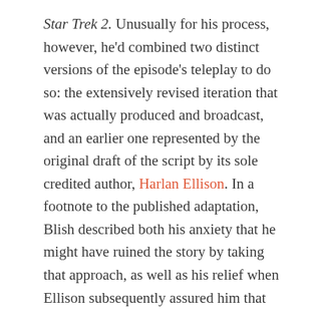Star Trek 2.  Unusually for his process, however, he'd combined two distinct versions of the episode's teleplay to do so: the extensively revised iteration that was actually produced and broadcast, and an earlier one represented by the original draft of the script by its sole credited author, Harlan Ellison.  In a footnote to the published adaptation, Blish described both his anxiety that he might have ruined the story by taking that approach, as well as his relief when Ellison subsequently assured him that he had not, in fact, botched the job.  That little look behind-the-scenes stuck with me — as did the name of the screenwriter, at a time when I never paid any attention to the credits on television shows